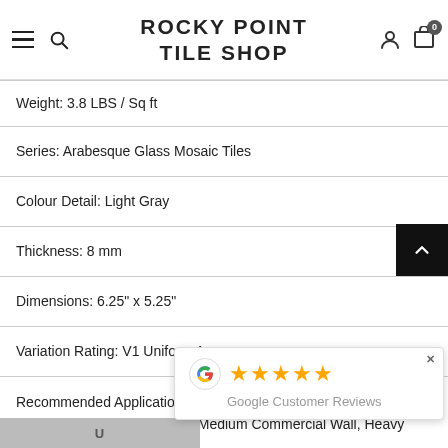ROCKY POINT TILE SHOP
| Weight: 3.8 LBS / Sq ft |
| Series: Arabesque Glass Mosaic Tiles |
| Colour Detail: Light Gray |
| Thickness: 8 mm |
| Dimensions: 6.25" x 5.25" |
| Variation Rating: V1 Uniform Appearance |
| Recommended Application: Shower Wall, Steam Wall, Fireplace Wall, Light Commercial Wall, Medium Commercial Wall, Heavy Commercial Wall, Indoor W... |
[Figure (other): Google Customer Reviews popup with 5 stars rating and Google G logo]